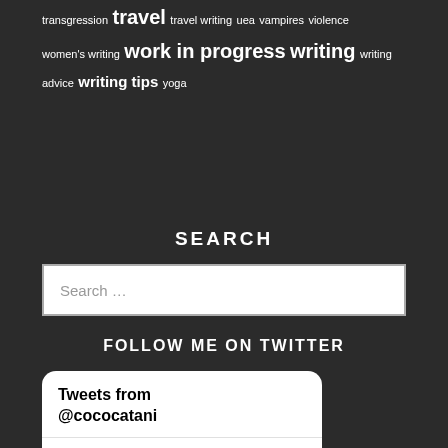transgression travel travel writing uea vampires violence women's writing work in progress writing writing advice writing tips yoga
SEARCH
Search …
FOLLOW ME ON TWITTER
Tweets from @cococatani
Coco d'Hont @… · Aug 3